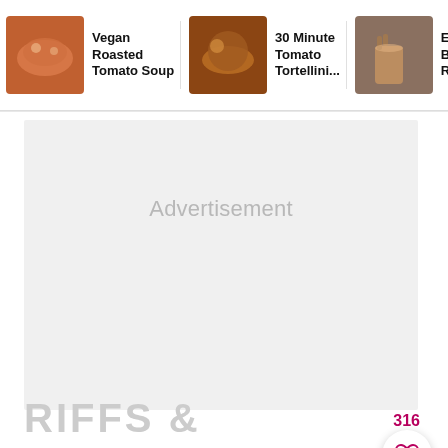[Figure (screenshot): Recipe card: Vegan Roasted Tomato Soup with food thumbnail]
Vegan Roasted Tomato Soup
[Figure (screenshot): Recipe card: 30 Minute Tomato Tortellini... with food thumbnail]
30 Minute Tomato Tortellini...
[Figure (screenshot): Recipe card: Easy App Butter No Refined... with food thumbnail]
Easy App Butte No Refined...
[Figure (other): Advertisement placeholder block with gray background]
Advertisement
316
RIFFS &